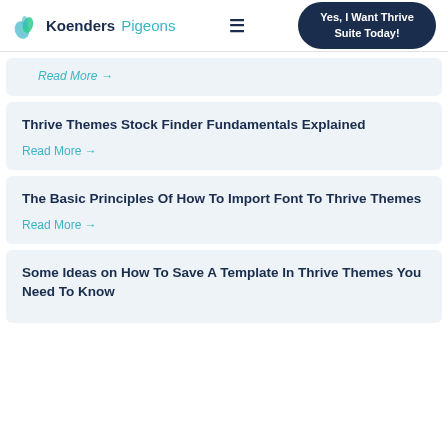KoendersPigeons | Yes, I Want Thrive Suite Today!
Read More →
Thrive Themes Stock Finder Fundamentals Explained
Read More →
The Basic Principles Of How To Import Font To Thrive Themes
Read More →
Some Ideas on How To Save A Template In Thrive Themes You Need To Know